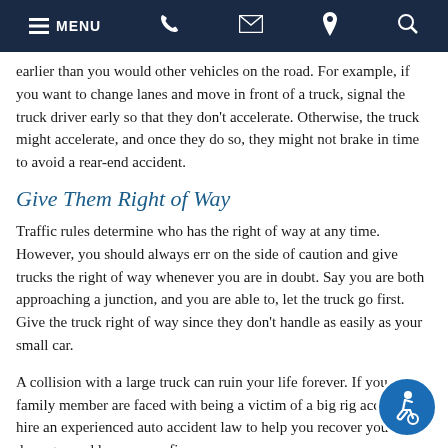MENU [phone] [email] [location] [search]
earlier than you would other vehicles on the road. For example, if you want to change lanes and move in front of a truck, signal the truck driver early so that they don't accelerate. Otherwise, the truck might accelerate, and once they do so, they might not brake in time to avoid a rear-end accident.
Give Them Right of Way
Traffic rules determine who has the right of way at any time. However, you should always err on the side of caution and give trucks the right of way whenever you are in doubt. Say you are both approaching a junction, and you are able to, let the truck go first. Give the truck right of way since they don't handle as easily as your small car.
A collision with a large truck can ruin your life forever. If you or a family member are faced with being a victim of a big rig accident, hire an experienced auto accident law... to help you recover your damages and lessen your finan...